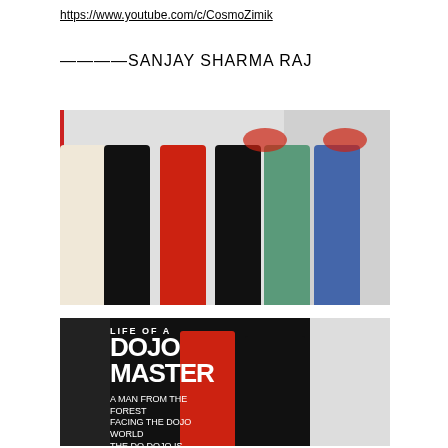https://www.youtube.com/c/CosmoZimik
————SANJAY SHARMA RAJ
[Figure (photo): Group photo of six people holding 'Life of a Dojo Master' books, standing in front of a martial arts studio with posters of a martial artist in a red uniform on the wall.]
[Figure (photo): Two men on stage in front of a 'Life of a Dojo Master' banner — one in a red uniform holding a microphone, one in a black shirt — at what appears to be a book launch event.]